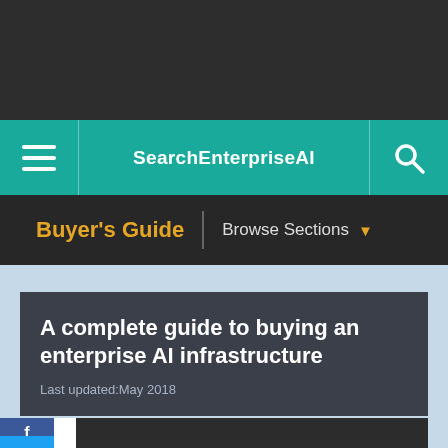SearchEnterpriseAI
Buyer's Guide | Browse Sections
A complete guide to buying an enterprise AI infrastructure
Last updated:May 2018
[Figure (screenshot): Dark video thumbnail placeholder at bottom of article card]